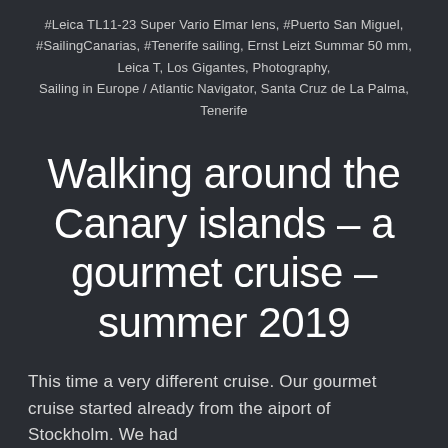#Leica TL11-23 Super Vario Elmar lens, #Puerto San Miguel, #SailingCanarias, #Tenerife sailing, Ernst Leizt Summar 50 mm, Leica T, Los Gigantes, Photography, Sailing in Europe / Atlantic Navigator, Santa Cruz de La Palma, Tenerife
Walking around the Canary islands – a gourmet cruise – summer 2019
This time a very different cruise. Our gourmet cruise started already from the aiport of Stockholm. We had